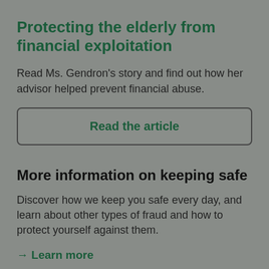Protecting the elderly from financial exploitation
Read Ms. Gendron's story and find out how her advisor helped prevent financial abuse.
Read the article
More information on keeping safe
Discover how we keep you safe every day, and learn about other types of fraud and how to protect yourself against them.
→ Learn more